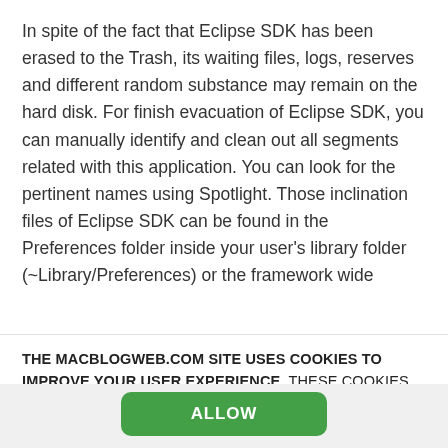In spite of the fact that Eclipse SDK has been erased to the Trash, its waiting files, logs, reserves and different random substance may remain on the hard disk. For finish evacuation of Eclipse SDK, you can manually identify and clean out all segments related with this application. You can look for the pertinent names using Spotlight. Those inclination files of Eclipse SDK can be found in the Preferences folder inside your user's library folder (~Library/Preferences) or the framework wide
THE MACBLOGWEB.COM SITE USES COOKIES TO IMPROVE YOUR USER EXPERIENCE. THESE COOKIES ARE SECURE AND DO NOT CONTAIN ANY SENSITIVE DATA. YOU CAN MANAGE YOUR COOKIES (PARTICULARLY, DISABLE THEM) AT PRIVACY SETTINGS PAGE ANY GIVEN TIME.
ALLOW